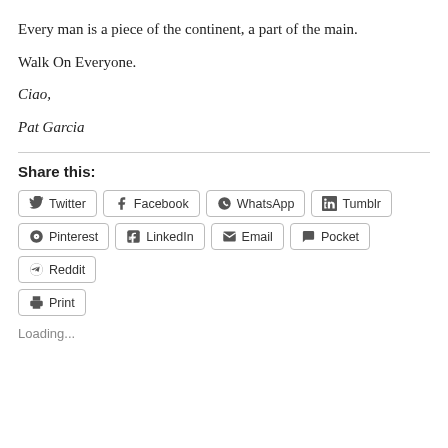Every man is a piece of the continent, a part of the main.
Walk On Everyone.
Ciao,
Pat Garcia
Share this:
Twitter  Facebook  WhatsApp  Tumblr  Pinterest  LinkedIn  Email  Pocket  Reddit  Print
Loading...